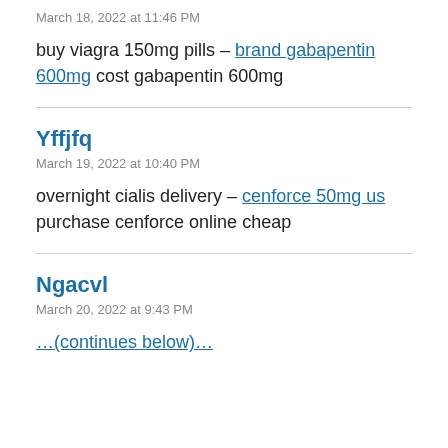March 18, 2022 at 11:46 PM
buy viagra 150mg pills – brand gabapentin 600mg cost gabapentin 600mg
Yffjfq
March 19, 2022 at 10:40 PM
overnight cialis delivery – cenforce 50mg us purchase cenforce online cheap
Ngacvl
March 20, 2022 at 9:43 PM
…(truncated)…